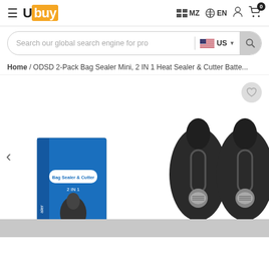[Figure (logo): Ubuy logo with orange background on 'buy' text portion]
MZ  EN
Search our global search engine for pro
US
Home / ODSD 2-Pack Bag Sealer Mini, 2 IN 1 Heat Sealer & Cutter Batte...
[Figure (photo): Product photo showing ODSD 2-Pack Bag Sealer Mini with product box and two black handheld bag sealers]